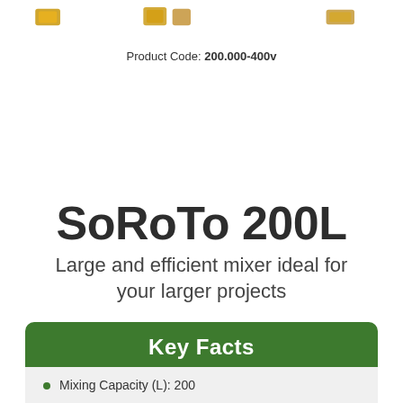[Figure (illustration): Partial view of product images or icons at the top of the page, partially cropped]
Product Code: 200.000-400v
SoRoTo 200L
Large and efficient mixer ideal for your larger projects
Key Facts
Mixing Capacity (L): 200